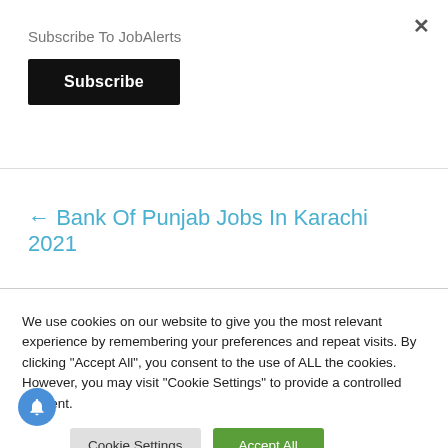Subscribe To JobAlerts
Subscribe
← Bank Of Punjab Jobs In Karachi 2021
We use cookies on our website to give you the most relevant experience by remembering your preferences and repeat visits. By clicking "Accept All", you consent to the use of ALL the cookies. However, you may visit "Cookie Settings" to provide a controlled consent.
Cookie Settings
Accept All